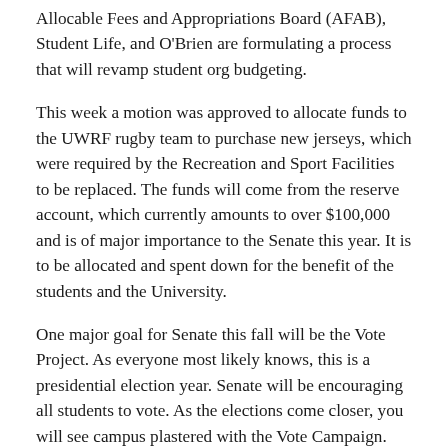Allocable Fees and Appropriations Board (AFAB), Student Life, and O'Brien are formulating a process that will revamp student org budgeting.
This week a motion was approved to allocate funds to the UWRF rugby team to purchase new jerseys, which were required by the Recreation and Sport Facilities to be replaced. The funds will come from the reserve account, which currently amounts to over $100,000 and is of major importance to the Senate this year. It is to be allocated and spent down for the benefit of the students and the University.
One major goal for Senate this fall will be the Vote Project. As everyone most likely knows, this is a presidential election year. Senate will be encouraging all students to vote. As the elections come closer, you will see campus plastered with the Vote Campaign.
There are currently eight seats open on Senate: one at-Large Senator, the College of Business and Economics representative, four First Year Representatives, the Greek